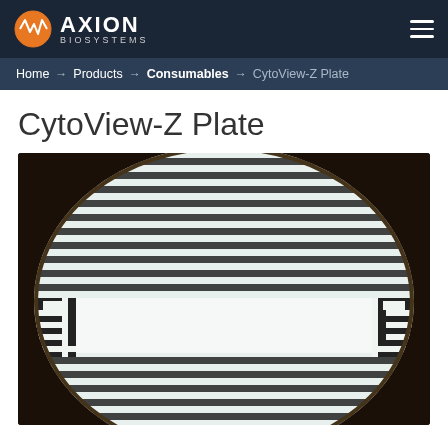AXION BIOSYSTEMS
Home → Products → Consumables → CytoView-Z Plate
CytoView-Z Plate
[Figure (photo): Microscope image of CytoView-Z Plate electrode pattern — shows a circular field of view with alternating light and dark horizontal stripes (electrode traces) and two rectangular electrode pad structures at the bottom left and right, against a dark background.]